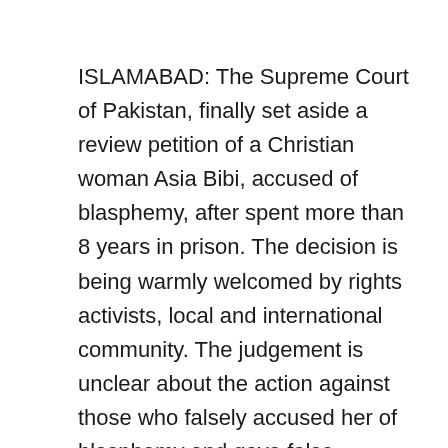ISLAMABAD: The Supreme Court of Pakistan, finally set aside a review petition of a Christian woman Asia Bibi, accused of blasphemy, after spent more than 8 years in prison. The decision is being warmly welcomed by rights activists, local and international community. The judgement is unclear about the action against those who falsely accused her of blasphemy and gave false testimonies to mislead the court and public though. I'm not law expert but the law teachers said that 'for every wrong, the law provides a remedy'. He who wrongs another is to be punished. But there are significant remarks by the Chief Justice of Pakistan (CJP) while grilling the